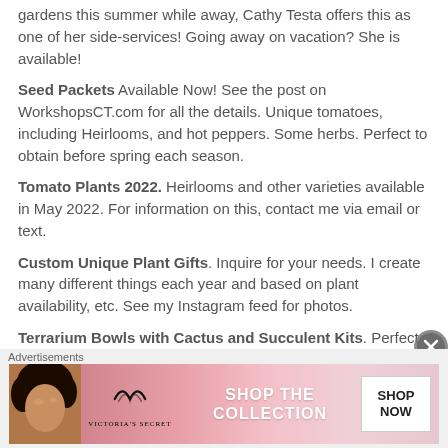gardens this summer while away, Cathy Testa offers this as one of her side-services! Going away on vacation? She is available!
Seed Packets Available Now! See the post on WorkshopsCT.com for all the details. Unique tomatoes, including Heirlooms, and hot peppers. Some herbs. Perfect to obtain before spring each season.
Tomato Plants 2022. Heirlooms and other varieties available in May 2022. For information on this, contact me via email or text.
Custom Unique Plant Gifts. Inquire for your needs. I create many different things each year and based on plant availability, etc. See my Instagram feed for photos.
Terrarium Bowls with Cactus and Succulent Kits. Perfect for the terrariums lover in your live and for people starting with creating with plants indoors and outdoors in summer in CT.
Container Gardening Installs for spring, summer, fall and winter.
Advertisements
[Figure (photo): Victoria's Secret advertisement banner with model, VS logo, 'SHOP THE COLLECTION' text, and 'SHOP NOW' button]